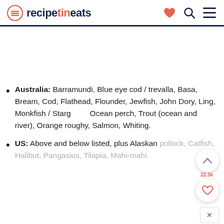recipetineats
Australia: Barramundi, Blue eye cod / trevalla, Basa, Bream, Cod, Flathead, Flounder, Jewfish, John Dory, Ling, Monkfish / Starg, Ocean perch, Trout (ocean and river), Orange roughy, Salmon, Whiting.
US: Above and below listed, plus Alaskan pollock, Catfish, Halibut, Pangasius, Tilapia, Mahi-mahi.